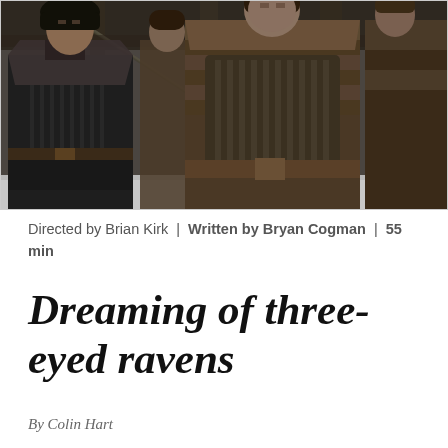[Figure (photo): Scene from Game of Thrones showing three men in medieval armor and heavy winter clothing standing outdoors. The leftmost figure wears black armor (Jon Snow), the center figure is a larger man in brown layered armor (Samwell Tarly), and the rightmost figure is partially visible in similar dark armor. A fourth figure stands in the background.]
Directed by Brian Kirk  |  Written by Bryan Cogman  |  55 min
Dreaming of three-eyed ravens
By Colin Hart